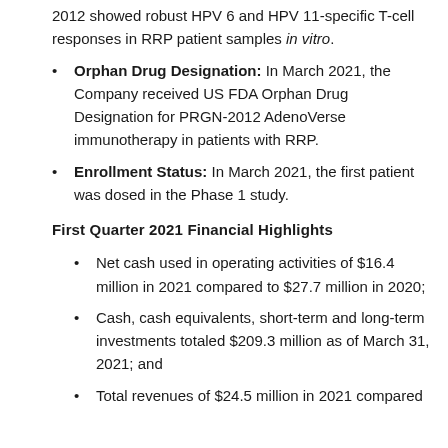2012 showed robust HPV 6 and HPV 11-specific T-cell responses in RRP patient samples in vitro.
Orphan Drug Designation: In March 2021, the Company received US FDA Orphan Drug Designation for PRGN-2012 AdenoVerse immunotherapy in patients with RRP.
Enrollment Status: In March 2021, the first patient was dosed in the Phase 1 study.
First Quarter 2021 Financial Highlights
Net cash used in operating activities of $16.4 million in 2021 compared to $27.7 million in 2020;
Cash, cash equivalents, short-term and long-term investments totaled $209.3 million as of March 31, 2021; and
Total revenues of $24.5 million in 2021 compared